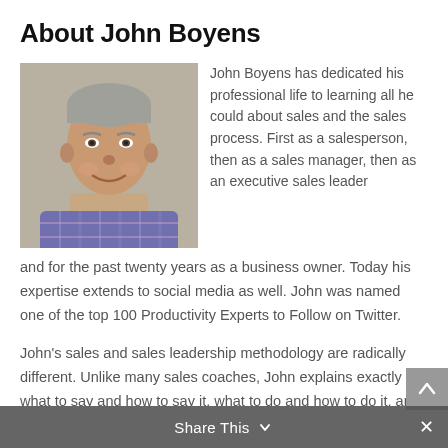About John Boyens
[Figure (photo): Headshot photo of John Boyens, a middle-aged man with short gray hair, smiling, wearing a blue/purple plaid shirt, gray background.]
John Boyens has dedicated his professional life to learning all he could about sales and the sales process. First as a salesperson, then as a sales manager, then as an executive sales leader and for the past twenty years as a business owner. Today his expertise extends to social media as well. John was named one of the top 100 Productivity Experts to Follow on Twitter.
John's sales and sales leadership methodology are radically different. Unlike many sales coaches, John explains exactly what to say and how to say it, what to do and how to do it, and when to walk away. John is often referred to as the Sales Guru for his coaching skills that